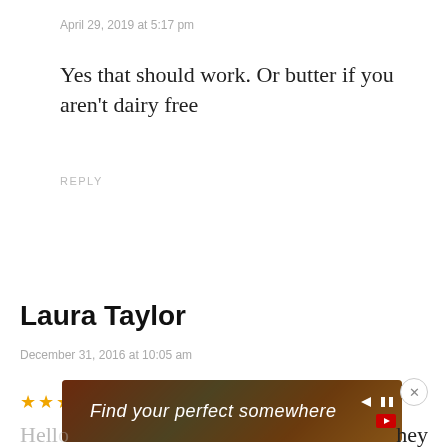April 29, 2019 at 5:17 pm
Yes that should work. Or butter if you aren't dairy free
REPLY
Laura Taylor
December 31, 2016 at 10:05 am
[Figure (other): Star rating (partial, 3 stars visible)]
[Figure (other): Ad banner: Find your perfect somewhere with outdoor/travel imagery]
Hello ... they